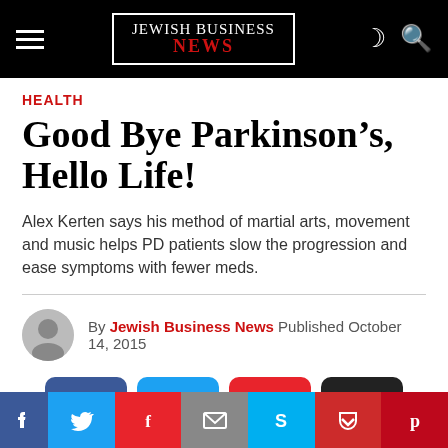JEWISH BUSINESS NEWS
HEALTH
Good Bye Parkinson’s, Hello Life!
Alex Kerten says his method of martial arts, movement and music helps PD patients slow the progression and ease symptoms with fewer meds.
By Jewish Business News  Published  October 14, 2015
[Figure (screenshot): Social share buttons: Facebook, Twitter, Flipboard, Email]